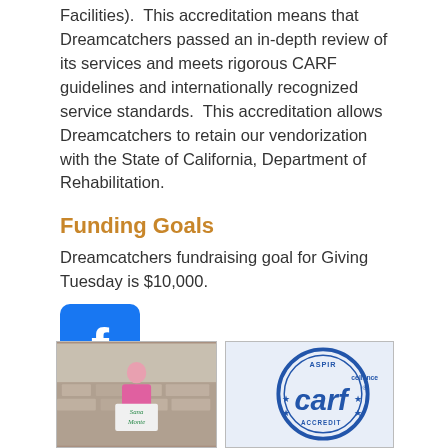Facilities).  This accreditation means that Dreamcatchers passed an in-depth review of its services and meets rigorous CARF guidelines and internationally recognized service standards.  This accreditation allows Dreamcatchers to retain our vendorization with the State of California, Department of Rehabilitation.
Funding Goals
Dreamcatchers fundraising goal for Giving Tuesday is $10,000.
[Figure (logo): Facebook logo icon — white 'f' on green square with rounded corners]
[Figure (photo): Person standing outdoors holding a Sana Monte sign in front of a stone building]
[Figure (logo): CARF Accredited seal — blue circular logo with text 'Aspiring to Excellence CARF Accredited']